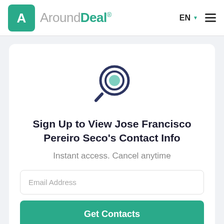AroundDeal® EN ☰
[Figure (logo): AroundDeal logo with teal rocket icon and brand name]
[Figure (illustration): Search magnifying glass icon in dark navy with teal lens]
Sign Up to View Jose Francisco Pereiro Seco's Contact Info
Instant access. Cancel anytime
Email Address
Get Contacts